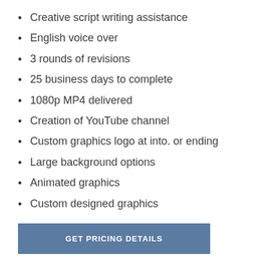Creative script writing assistance
English voice over
3 rounds of revisions
25 business days to complete
1080p MP4 delivered
Creation of YouTube channel
Custom graphics logo at into. or ending
Large background options
Animated graphics
Custom designed graphics
GET PRICING DETAILS